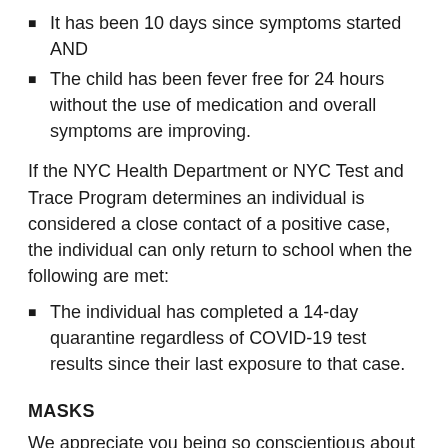It has been 10 days since symptoms started AND
The child has been fever free for 24 hours without the use of medication and overall symptoms are improving.
If the NYC Health Department or NYC Test and Trace Program determines an individual is considered a close contact of a positive case, the individual can only return to school when the following are met:
The individual has completed a 14-day quarantine regardless of COVID-19 test results since their last exposure to that case.
MASKS
We appreciate you being so conscientious about masks. Just a reminder that based on DOE guidelines, neck gaiter masks and those with release valves are not permitted.